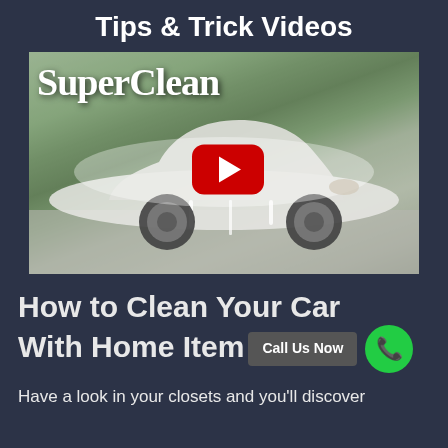Tips & Trick Videos
[Figure (screenshot): Video thumbnail showing a foam-covered car with 'SuperClean' text overlay and a YouTube play button in the center.]
How to Clean Your Car With Home Ite
Call Us Now
Have a look in your closets and you'll discover